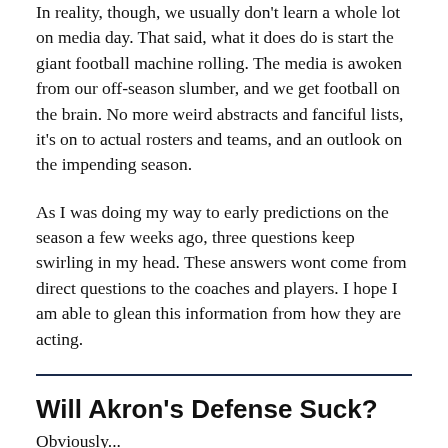In reality, though, we usually don't learn a whole lot on media day. That said, what it does do is start the giant football machine rolling. The media is awoken from our off-season slumber, and we get football on the brain. No more weird abstracts and fanciful lists, it's on to actual rosters and teams, and an outlook on the impending season.
As I was doing my way to early predictions on the season a few weeks ago, three questions keep swirling in my head. These answers wont come from direct questions to the coaches and players. I hope I am able to glean this information from how they are acting.
Will Akron's Defense Suck?
Obviously...